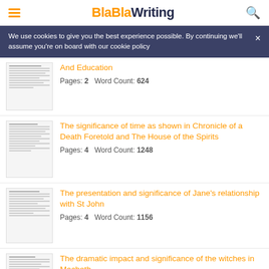BlaBlaWriting
We use cookies to give you the best experience possible. By continuing we'll assume you're on board with our cookie policy
And Education — Pages: 2  Word Count: 624
The significance of time as shown in Chronicle of a Death Foretold and The House of the Spirits — Pages: 4  Word Count: 1248
The presentation and significance of Jane's relationship with St John — Pages: 4  Word Count: 1156
The dramatic impact and significance of the witches in Macbeth — Pages: 7  Word Count: 1900